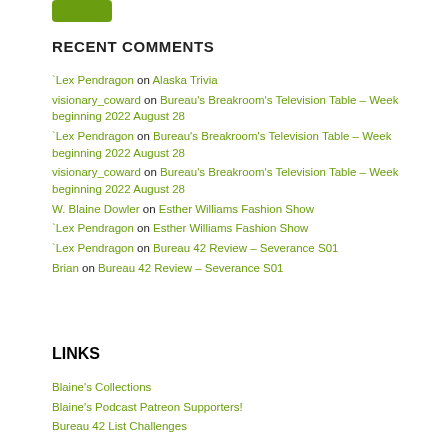[Figure (other): Green button/badge at top left]
RECENT COMMENTS
`Lex Pendragon on Alaska Trivia
visionary_coward on Bureau's Breakroom's Television Table – Week beginning 2022 August 28
`Lex Pendragon on Bureau's Breakroom's Television Table – Week beginning 2022 August 28
visionary_coward on Bureau's Breakroom's Television Table – Week beginning 2022 August 28
W. Blaine Dowler on Esther Williams Fashion Show
`Lex Pendragon on Esther Williams Fashion Show
`Lex Pendragon on Bureau 42 Review – Severance S01
Brian on Bureau 42 Review – Severance S01
LINKS
Blaine's Collections
Blaine's Podcast Patreon Supporters!
Bureau 42 List Challenges